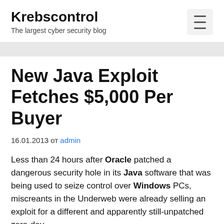Krebscontrol
The largest cyber security blog
New Java Exploit Fetches $5,000 Per Buyer
16.01.2013 от admin
Less than 24 hours after Oracle patched a dangerous security hole in its Java software that was being used to seize control over Windows PCs, miscreants in the Underweb were already selling an exploit for a different and apparently still-unpatched zero-day